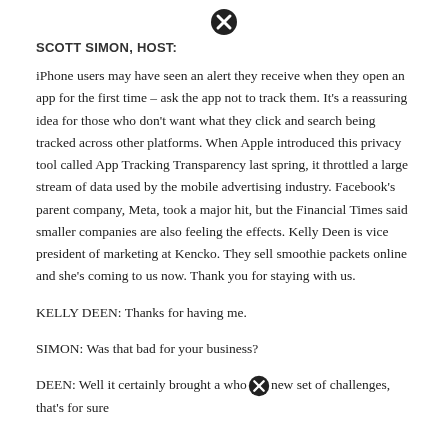[Figure (other): Close/dismiss button icon (circle with X)]
SCOTT SIMON, HOST:
iPhone users may have seen an alert they receive when they open an app for the first time – ask the app not to track them. It's a reassuring idea for those who don't want what they click and search being tracked across other platforms. When Apple introduced this privacy tool called App Tracking Transparency last spring, it throttled a large stream of data used by the mobile advertising industry. Facebook's parent company, Meta, took a major hit, but the Financial Times said smaller companies are also feeling the effects. Kelly Deen is vice president of marketing at Kencko. They sell smoothie packets online and she's coming to us now. Thank you for staying with us.
KELLY DEEN: Thanks for having me.
SIMON: Was that bad for your business?
DEEN: Well it certainly brought a whole new set of challenges, that's for sure